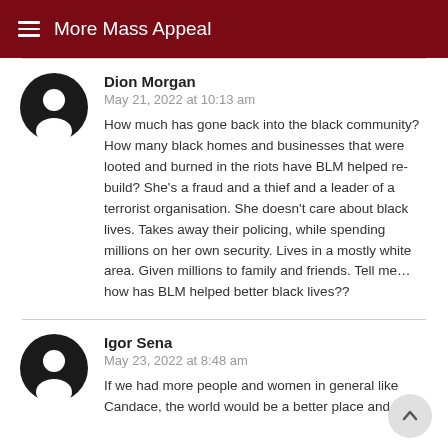More Mass Appeal
Dion Morgan
May 21, 2022 at 10:13 am

How much has gone back into the black community? How many black homes and businesses that were looted and burned in the riots have BLM helped re-build? She's a fraud and a thief and a leader of a terrorist organisation. She doesn't care about black lives. Takes away their policing, while spending millions on her own security. Lives in a mostly white area. Given millions to family and friends. Tell me…how has BLM helped better black lives??
Igor Sena
May 23, 2022 at 8:48 am

If we had more people and women in general like Candace, the world would be a better place and we